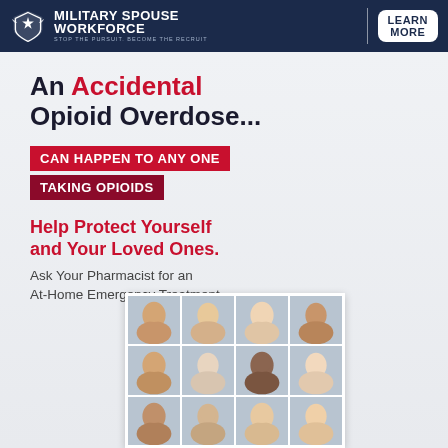[Figure (logo): Military Spouse Workforce logo with star-and-shield emblem and 'LEARN MORE' button on dark navy banner]
An Accidental Opioid Overdose...
CAN HAPPEN TO ANY ONE TAKING OPIOIDS
Help Protect Yourself and Your Loved Ones. Ask Your Pharmacist for an At-Home Emergency Treatment.
[Figure (photo): Grid photo collage showing diverse group of people's faces]